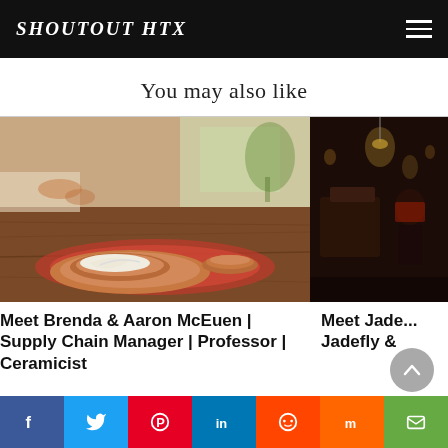SHOUTOUT HTX
You may also like
[Figure (photo): Photo of a dining table with terracotta bowls and colorful place mats]
[Figure (photo): Partially visible dark-toned restaurant interior photo]
Meet Brenda & Aaron McEuen | Supply Chain Manager | Professor | Ceramicist
Meet Jade... Jadefly &
Social share bar: Facebook, Twitter, Pinterest, LinkedIn, Reddit, Mix, Email